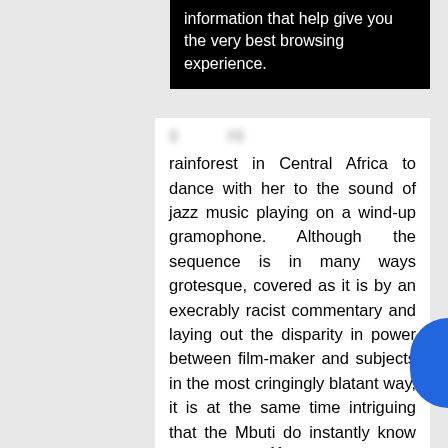[Figure (screenshot): Black banner/popup with white text: 'information that help give you the very best browsing experience.']
rainforest in Central Africa to dance with her to the sound of jazz music playing on a wind-up gramophone. Although the sequence is in many ways grotesque, covered as it is by an execrably racist commentary and laying out the disparity in power between film-maker and subjects in the most cringingly blatant way, it is at the same time intriguing that the Mbuti do instantly know how to swing.11
Although the classical US travelogues may be mined for the occasional vein of ethnographic interest such as this, films in this genre are usually so submerged beneath a layer of artifice and colonial